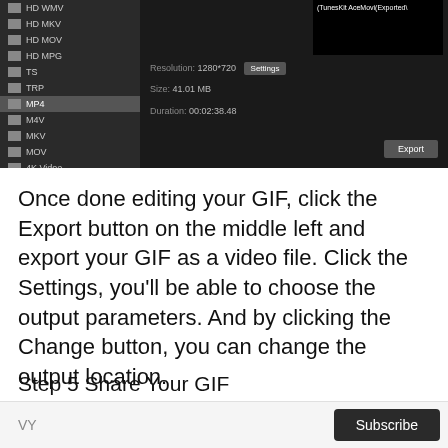[Figure (screenshot): Dark-themed video export software interface showing a left panel with format options (HD WMV, HD MKV, HD MOV, HD MPG, TS, TRP, MP4 selected/highlighted, M4V, MKV, MOV, 4K Video), and a right panel showing Resolution: 1280*720 with a Settings button, Size: 41.01 MB, Duration: 00:02:38.48, a black video thumbnail, and an Export button at bottom right.]
Once done editing your GIF, click the Export button on the middle left and export your GIF as a video file. Click the Settings, you'll be able to choose the output parameters. And by clicking the Change button, you can change the output location.
Step 5 Share Your GIF
VY  Subscribe